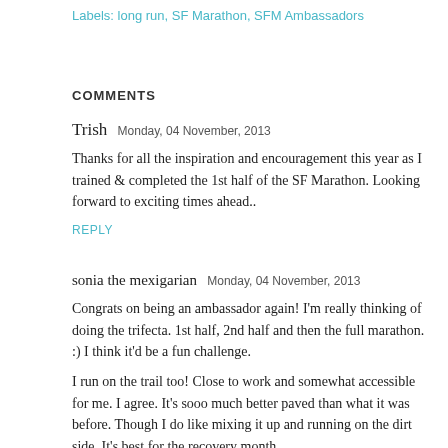Labels: long run, SF Marathon, SFM Ambassadors
COMMENTS
Trish  Monday, 04 November, 2013

Thanks for all the inspiration and encouragement this year as I trained & completed the 1st half of the SF Marathon. Looking forward to exciting times ahead..

REPLY
sonia the mexigarian  Monday, 04 November, 2013

Congrats on being an ambassador again! I'm really thinking of doing the trifecta. 1st half, 2nd half and then the full marathon. :) I think it'd be a fun challenge.

I run on the trail too! Close to work and somewhat accessible for me. I agree. It's sooo much better paved than what it was before. Though I do like mixing it up and running on the dirt side. It's best for the recovery month...